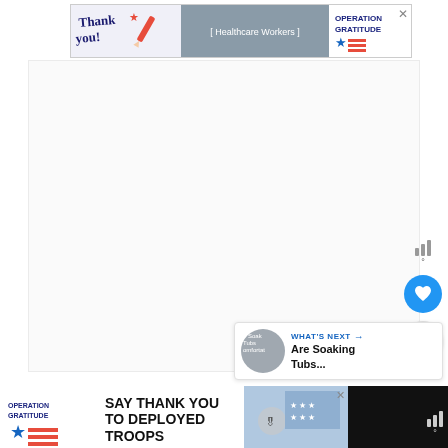[Figure (photo): Operation Gratitude banner ad at top: 'Thank you!' handwritten text with pencil illustration on left, photo of three masked healthcare workers in scrubs holding cards in center, Operation Gratitude star logo on right with X close button]
[Figure (infographic): Large blank white/light gray main content area below the top ad]
[Figure (infographic): Right side floating UI panel: weather bars icon with degree symbol, blue circle heart/like button, white circle share button with + icon]
[Figure (infographic): What's Next panel on bottom right: thumbnail of soaking tub article, label 'WHAT'S NEXT' with arrow, text 'Are Soaking Tubs...']
[Figure (photo): Bottom Operation Gratitude banner ad: star logo and 'OPERATION GRATITUDE' text on left, 'SAY THANK YOU TO DEPLOYED TROOPS' text in center, patriotic illustration on right, X close button, weather icon on far right on black bar]